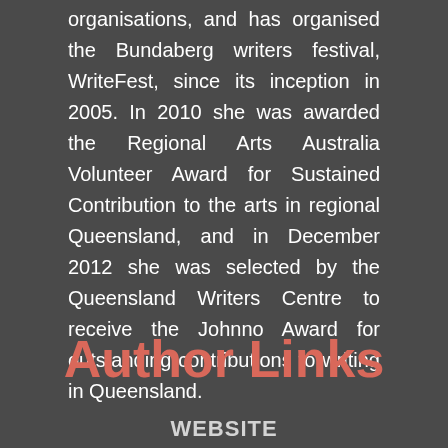organisations, and has organised the Bundaberg writers festival, WriteFest, since its inception in 2005. In 2010 she was awarded the Regional Arts Australia Volunteer Award for Sustained Contribution to the arts in regional Queensland, and in December 2012 she was selected by the Queensland Writers Centre to receive the Johnno Award for outstanding contributions to writing in Queensland.
Author Links
WEBSITE